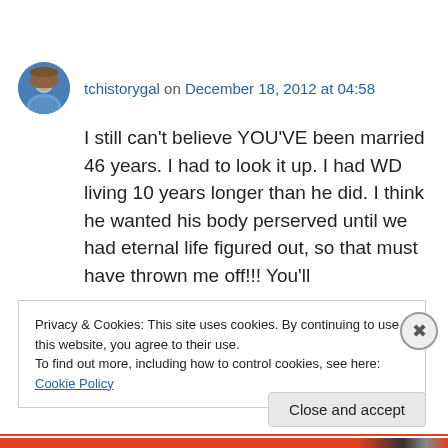tchistorygal on December 18, 2012 at 04:58
I still can't believe YOU'VE been married 46 years. I had to look it up. I had WD living 10 years longer than he did. I think he wanted his body perserved until we had eternal life figured out, so that must have thrown me off!!! You'll
Privacy & Cookies: This site uses cookies. By continuing to use this website, you agree to their use.
To find out more, including how to control cookies, see here: Cookie Policy
Close and accept